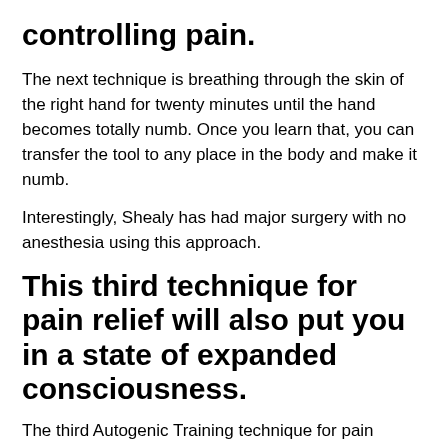controlling pain.
The next technique is breathing through the skin of the right hand for twenty minutes until the hand becomes totally numb. Once you learn that, you can transfer the tool to any place in the body and make it numb.
Interestingly, Shealy has had major surgery with no anesthesia using this approach.
This third technique for pain relief will also put you in a state of expanded consciousness.
The third Autogenic Training technique for pain relief is also recommended.